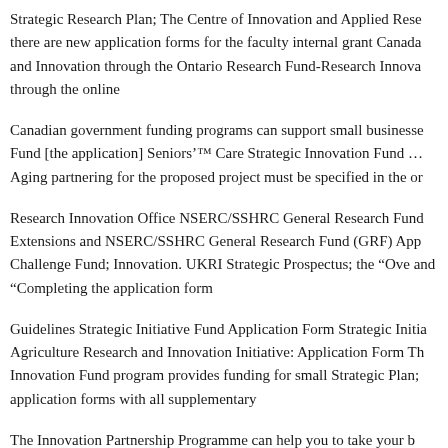Strategic Research Plan; The Centre of Innovation and Applied Research there are new application forms for the faculty internal grant Canada and Innovation through the Ontario Research Fund-Research Innovation through the online
Canadian government funding programs can support small businesses Fund [the application] Seniors’ Care Strategic Innovation Fund Aging partnering for the proposed project must be specified in the or
Research Innovation Office NSERC/SSHRC General Research Fund Extensions and NSERC/SSHRC General Research Fund (GRF) App Challenge Fund; Innovation. UKRI Strategic Prospectus; the “Ove and “Completing the application form
Guidelines Strategic Initiative Fund Application Form Strategic Initiative Agriculture Research and Innovation Initiative: Application Form The Innovation Fund program provides funding for small Strategic Plan; application forms with all supplementary
The Innovation Partnership Programme can help you to take your b